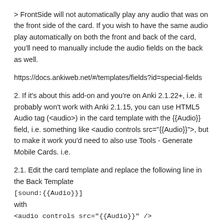> FrontSide will not automatically play any audio that was on the front side of the card. If you wish to have the same audio play automatically on both the front and back of the card, you'll need to manually include the audio fields on the back as well.
https://docs.ankiweb.net/#/templates/fields?id=special-fields
2. If it's about this add-on and you're on Anki 2.1.22+, i.e. it probably won't work with Anki 2.1.15, you can use HTML5 Audio tag (<audio>) in the card template with the {{Audio}} field, i.e. something like <audio controls src="{{Audio}}">, but to make it work you'd need to also use Tools - Generate Mobile Cards. i.e.
2.1. Edit the card template and replace the following line in the Back Template
[sound:{{Audio}}]
with
<audio controls src="{{Audio}}" />
2.2. Use Tools - Generate Mobile Cards
HTML5 Audio isn't officially supported by Anki at the